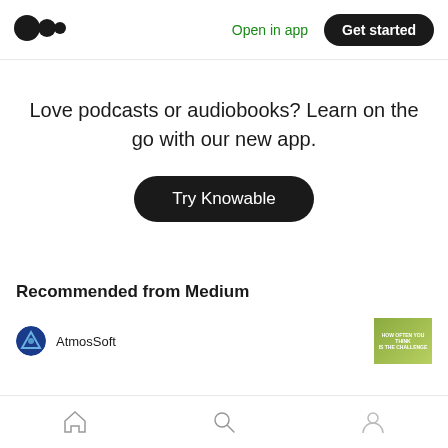[Figure (logo): Medium logo — two overlapping circles (black)]
Open in app
Get started
Love podcasts or audiobooks? Learn on the go with our new app.
Try Knowable
Recommended from Medium
AtmosSoft
[Figure (screenshot): Green thumbnail image preview for an article by AtmosSoft]
[Figure (infographic): Bottom navigation bar with home, search, and profile icons]